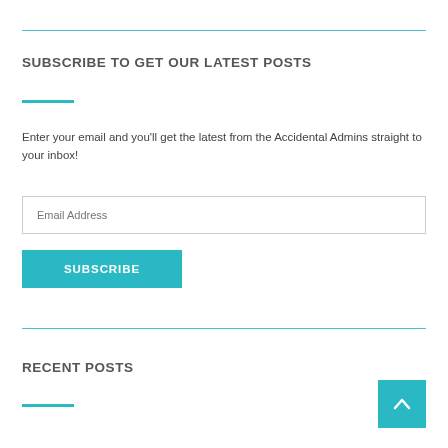SUBSCRIBE TO GET OUR LATEST POSTS
Enter your email and you'll get the latest from the Accidental Admins straight to your inbox!
Email Address
SUBSCRIBE
RECENT POSTS